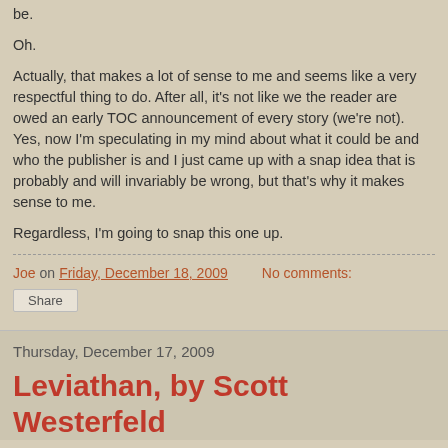be.
Oh.
Actually, that makes a lot of sense to me and seems like a very respectful thing to do. After all, it's not like we the reader are owed an early TOC announcement of every story (we're not). Yes, now I'm speculating in my mind about what it could be and who the publisher is and I just came up with a snap idea that is probably and will invariably be wrong, but that's why it makes sense to me.
Regardless, I'm going to snap this one up.
Joe on Friday, December 18, 2009   No comments:
Share
Thursday, December 17, 2009
Leviathan, by Scott Westerfeld